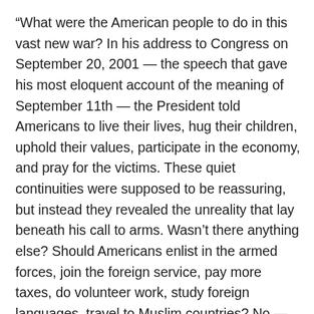“What were the American people to do in this vast new war? In his address to Congress on September 20, 2001 — the speech that gave his most eloquent account of the meaning of September 11th — the President told Americans to live their lives, hug their children, uphold their values, participate in the economy, and pray for the victims. These quiet continuities were supposed to be reassuring, but instead they revealed the unreality that lay beneath his call to arms. Wasn’t there anything else? Should Americans enlist in the armed forces, join the foreign service, pay more taxes, do volunteer work, study foreign languages, travel to Muslim countries? No — just go on using their credit cards…Never was the mismatch between the idea of the war and the war itself more apparent. Everything had changed, Bush announced, but not to worry — nothing would change.”